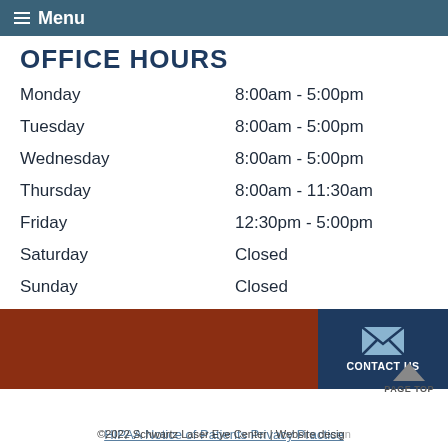Menu
OFFICE HOURS
| Day | Hours |
| --- | --- |
| Monday | 8:00am - 5:00pm |
| Tuesday | 8:00am - 5:00pm |
| Wednesday | 8:00am - 5:00pm |
| Thursday | 8:00am - 11:30am |
| Friday | 12:30pm - 5:00pm |
| Saturday | Closed |
| Sunday | Closed |
[Figure (infographic): Footer bar with dark red background and navy blue Contact Us button with envelope icon]
HIPAA Notice of Patients Privacy Practice
PAGE TOP
©2022 Schwartz Laser Eye Center | Website design